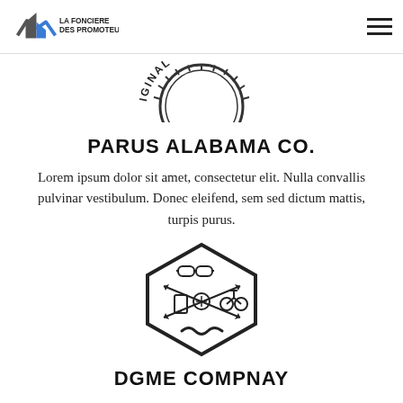LA FONCIERE DES PROMOTEURS
[Figure (logo): Circular badge stamp with text ORIGINAL COFFE partially visible at the top]
PARUS ALABAMA CO.
Lorem ipsum dolor sit amet, consectetur elit. Nulla convallis pulvinar vestibulum. Donec eleifend, sem sed dictum mattis, turpis purus.
[Figure (logo): Hexagonal hipster badge with sunglasses, arrows, smartphone, compass, bicycle icons and mustache]
DGME COMPNAY